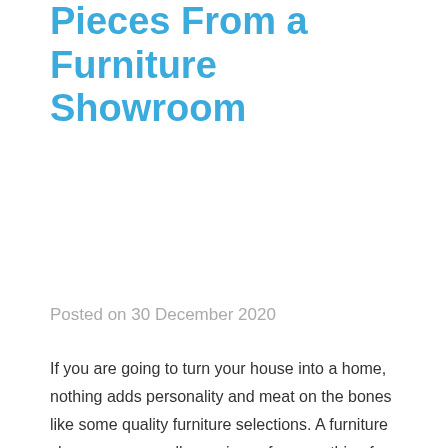Pieces From a Furniture Showroom
Posted on 30 December 2020
If you are going to turn your house into a home, nothing adds personality and meat on the bones like some quality furniture selections. A furniture showroom can sell you pieces for everything from your master bedroom to your deck or patio. When you know what you want, it's easier for you to make the right picks and spend your money in a way that serves you.